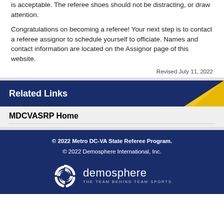is acceptable. The referee shoes should not be distracting, or draw attention.
Congratulations on becoming a referee! Your next step is to contact a referee assignor to schedule yourself to officiate. Names and contact information are located on the Assignor page of this website.
Revised July 11, 2022
Related Links
MDCVASRP Home
© 2022 Metro DC-VA State Referee Program.
© 2022 Demosphere International, Inc.